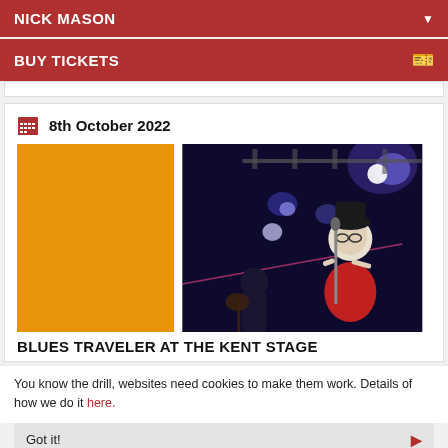NICK MASON
BUY TICKETS
8th October 2022
[Figure (photo): Concert photo showing musicians on stage with dramatic blue/purple lighting, one performer in red shirt singing into microphone, another playing guitar. Left portion is solid orange block.]
BLUES TRAVELER AT THE KENT STAGE
You know the drill, websites need cookies to make them work. Details of how we do it here.
Got it!